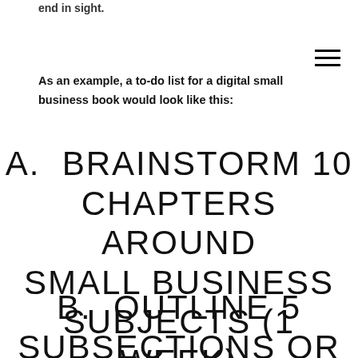end in sight.
As an example, a to-do list for a digital small business book would look like this:
A.  BRAINSTORM 10 CHAPTERS AROUND SMALL BUSINESS SUBJECTS (1 WEEK)
B.  OUTLINE 5 SUBSECTIONS OR ARTICLES TO COVER IN